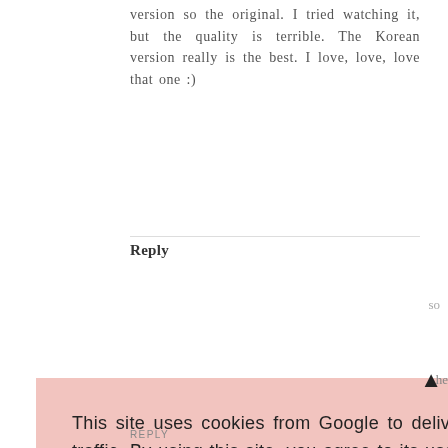version so the original. I tried watching it, but the quality is terrible. The Korean version really is the best. I love, love, love that one :)
Reply
This site uses cookies from Google to deliver its services, to personalise ads and to analyse traffic. By using this site, you agree to its use of cookies. Learn more
OK
REPLY